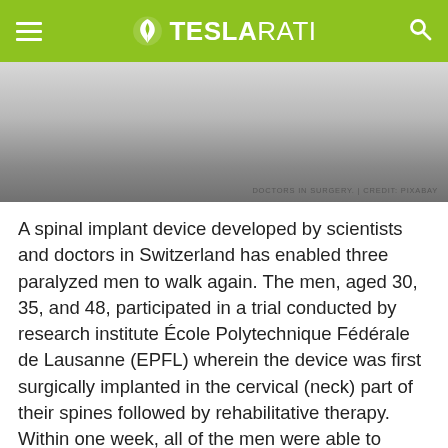TESLARATI
[Figure (photo): Greyscale image of doctors in surgery, fading from light grey at top to darker grey at bottom]
DOCTORS IN SURGERY. | CREDIT: PIXABAY
A spinal implant device developed by scientists and doctors in Switzerland has enabled three paralyzed men to walk again. The men, aged 30, 35, and 48, participated in a trial conducted by research institute École Polytechnique Fédérale de Lausanne (EPFL) wherein the device was first surgically implanted in the cervical (neck) part of their spines followed by rehabilitative therapy. Within one week, all of the men were able to regain motion in their lower limbs, and after three months, they were able to walk hands-free with hip support in a gravity-assist mechanism.